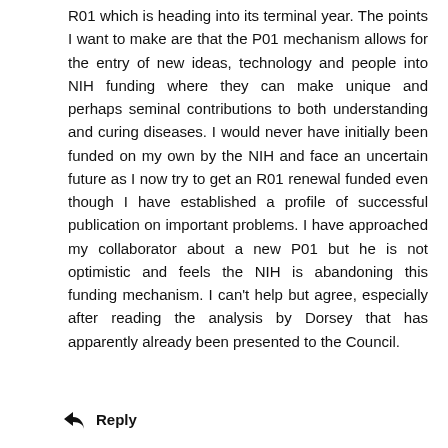R01 which is heading into its terminal year. The points I want to make are that the P01 mechanism allows for the entry of new ideas, technology and people into NIH funding where they can make unique and perhaps seminal contributions to both understanding and curing diseases. I would never have initially been funded on my own by the NIH and face an uncertain future as I now try to get an R01 renewal funded even though I have established a profile of successful publication on important problems. I have approached my collaborator about a new P01 but he is not optimistic and feels the NIH is abandoning this funding mechanism. I can't help but agree, especially after reading the analysis by Dorsey that has apparently already been presented to the Council.
Reply